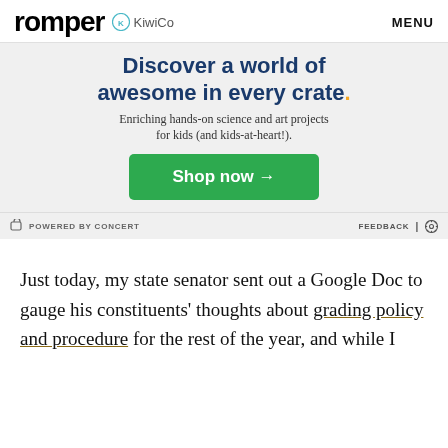romper  KiwiCo  MENU
[Figure (infographic): KiwiCo advertisement with headline 'Discover a world of awesome in every crate.' subtext 'Enriching hands-on science and art projects for kids (and kids-at-heart!).' and a green 'Shop now →' button on a light gray background.]
POWERED BY CONCERT   FEEDBACK  ⚙
Just today, my state senator sent out a Google Doc to gauge his constituents' thoughts about grading policy and procedure for the rest of the year, and while I